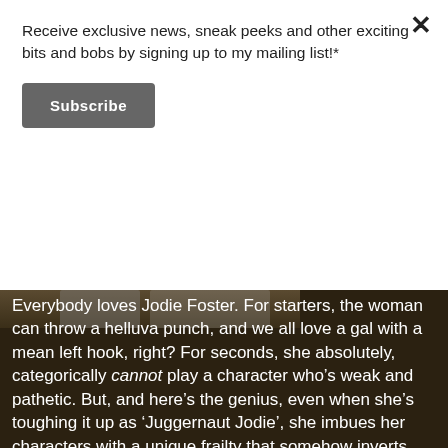Receive exclusive news, sneak peeks and other exciting bits and bobs by signing up to my mailing list!*
Subscribe
[Figure (photo): Dark background with partial photo of people, article text overlay about Jodie Foster]
Everybody loves Jodie Foster. For starters, the woman can throw a helluva punch, and we all love a gal with a mean left hook, right? For seconds, she absolutely, categorically cannot play a character who's weak and pathetic. But, and here's the genius, even when she's toughing it up as 'Juggernaut Jodie', she imbues her characters with a unique frailty that somehow inverts weakness (say, a traumatic childhood), converting it into raw power. Examples? Like you need em. Anywho, what's with all the Jodie loving? Well, last year I